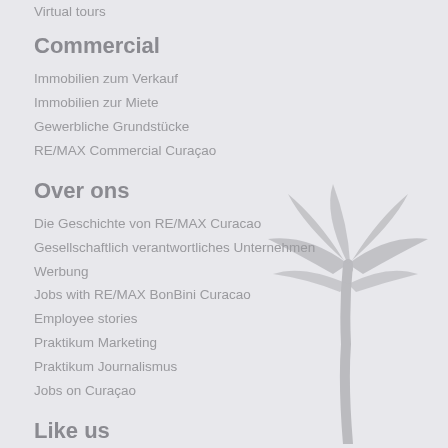Virtual tours
Commercial
Immobilien zum Verkauf
Immobilien zur Miete
Gewerbliche Grundstücke
RE/MAX Commercial Curaçao
Over ons
Die Geschichte von RE/MAX Curacao
Gesellschaftlich verantwortliches Unternehmen
Werbung
Jobs with RE/MAX BonBini Curacao
Employee stories
Praktikum Marketing
Praktikum Journalismus
Jobs on Curaçao
Like us
[Figure (illustration): Social media icons: Facebook, Instagram, YouTube, LinkedIn]
[Figure (illustration): Decorative palm tree silhouette in light gray, bottom-right corner]